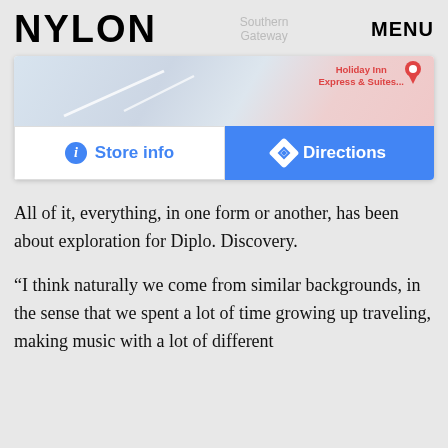NYLON
[Figure (screenshot): Google Maps screenshot showing a map area with 'Store info' and 'Directions' buttons. Holiday Inn Express & Suites label visible on map. Two action buttons: white 'Store info' button with info icon on left, blue 'Directions' button with navigation icon on right.]
All of it, everything, in one form or another, has been about exploration for Diplo. Discovery.
“I think naturally we come from similar backgrounds, in the sense that we spent a lot of time growing up traveling, making music with a lot of different